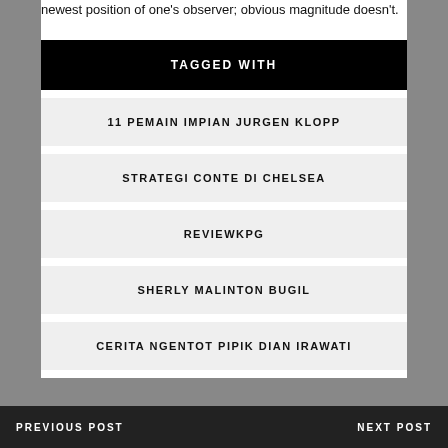newest position of one's observer; obvious magnitude doesn't.
TAGGED WITH
11 PEMAIN IMPIAN JURGEN KLOPP
STRATEGI CONTE DI CHELSEA
REVIEWKPG
SHERLY MALINTON BUGIL
CERITA NGENTOT PIPIK DIAN IRAWATI
PREVIOUS POST    NEXT POST